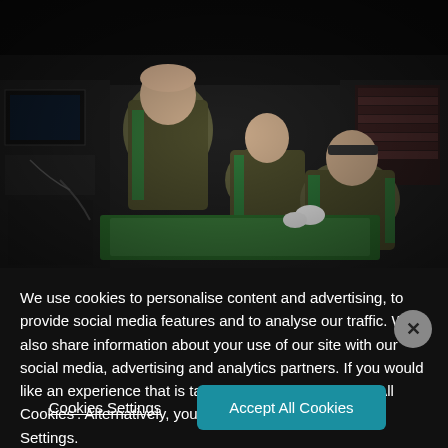[Figure (photo): Military medical personnel in green aprons treating a patient inside a field tent/military medical facility. Three soldiers are visible working on a patient on a cot, surrounded by military equipment and monitors.]
We use cookies to personalise content and advertising, to provide social media features and to analyse our traffic. We also share information about your use of our site with our social media, advertising and analytics partners. If you would like an experience that is tailored to you, click ‘Accept All Cookies’. Alternatively, you can manage your Cookie Settings.
Cookies Settings
Accept All Cookies